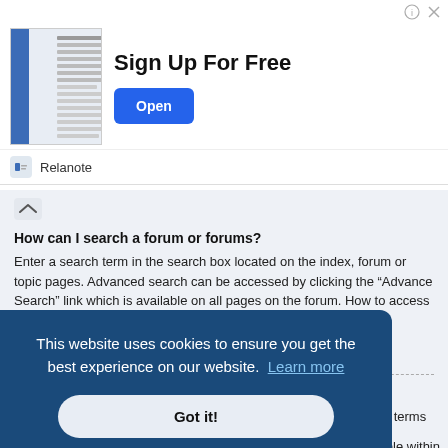[Figure (screenshot): Advertisement banner for Relanote with thumbnail image showing a document/notes app, 'Sign Up For Free' text and blue Open button]
How can I search a forum or forums?
Enter a search term in the search box located on the index, forum or topic pages. Advanced search can be accessed by clicking the “Advance Search” link which is available on all pages on the forum. How to access the search may depend on the style used.
▲ Top
Why does my search return no results?
Your search was probably too vague and included many common terms which are not indexed by phpBB. Be more specific and use the options available within Advanced search.
This website uses cookies to ensure you get the best experience on our website. Learn more
Got it!
...able within
...e
...that are
to be searched.